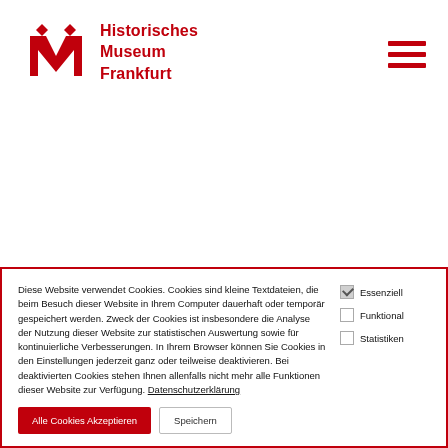[Figure (logo): Historisches Museum Frankfurt logo: red stylized M with diamond shapes and red text reading Historisches Museum Frankfurt]
[Figure (other): Hamburger menu icon: three red horizontal bars]
Diese Website verwendet Cookies. Cookies sind kleine Textdateien, die beim Besuch dieser Website in Ihrem Computer dauerhaft oder temporär gespeichert werden. Zweck der Cookies ist insbesondere die Analyse der Nutzung dieser Website zur statistischen Auswertung sowie für kontinuierliche Verbesserungen. In Ihrem Browser können Sie Cookies in den Einstellungen jederzeit ganz oder teilweise deaktivieren. Bei deaktivierten Cookies stehen Ihnen allenfalls nicht mehr alle Funktionen dieser Website zur Verfügung. Datenschutzerklärung
Essenziell (checked)
Funktional
Statistiken